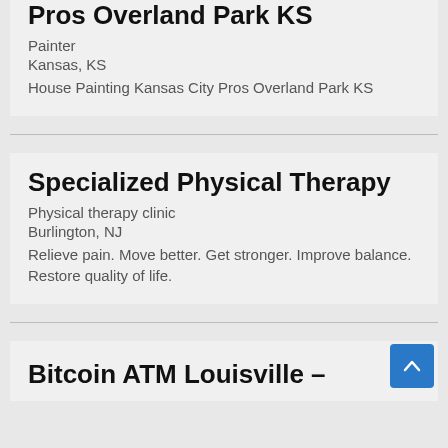Pros Overland Park KS
Painter
Kansas, KS
House Painting Kansas City Pros Overland Park KS
Specialized Physical Therapy
Physical therapy clinic
Burlington, NJ
Relieve pain. Move better. Get stronger. Improve balance. Restore quality of life.
Bitcoin ATM Louisville –